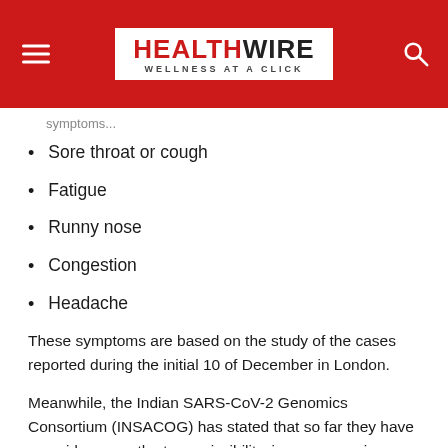HEALTHWIRE — WELLNESS AT A CLICK
Sore throat or cough
Fatigue
Runny nose
Congestion
Headache
These symptoms are based on the study of the cases reported during the initial 10 of December in London.
Meanwhile, the Indian SARS-CoV-2 Genomics Consortium (INSACOG) has stated that so far they have no evidence on the transmissibility, immune evasion, or severity of the new variant of COVID-19. The central government has also stated